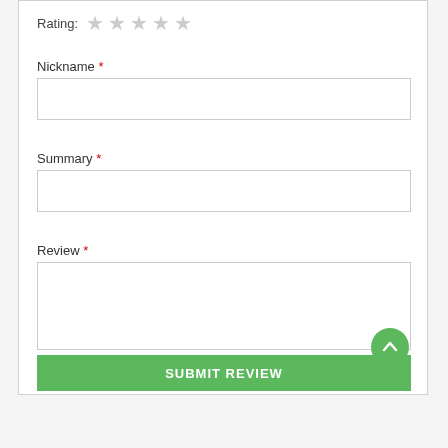Rating: ★ ★ ★ ★ ★
Nickname *
Summary *
Review *
SUBMIT REVIEW